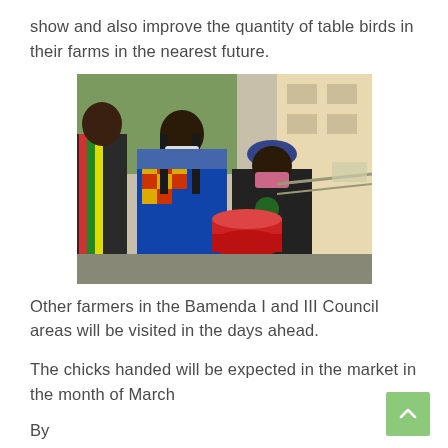show and also improve the quantity of table birds in their farms in the nearest future.
[Figure (photo): A woman in a colorful traditional patterned dress and face mask hands red containers to a person wearing a black shirt and blue cap with a pink mask. Another person in a striped outfit stands to the left. Scene is outdoors near a building.]
Other farmers in the Bamenda I and III Council areas will be visited in the days ahead.
The chicks handed will be expected in the market in the month of March
By
Ndi Tsembom Elvis